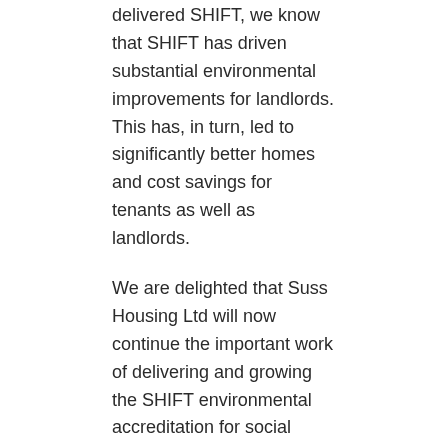delivered SHIFT, we know that SHIFT has driven substantial environmental improvements for landlords. This has, in turn, led to significantly better homes and cost savings for tenants as well as landlords.
We are delighted that Suss Housing Ltd will now continue the important work of delivering and growing the SHIFT environmental accreditation for social landlords.”  Clare Hierons, Non-Executive Director, Sustainable Homes.
View/Download the letter from the SHIFT Outgoing Board